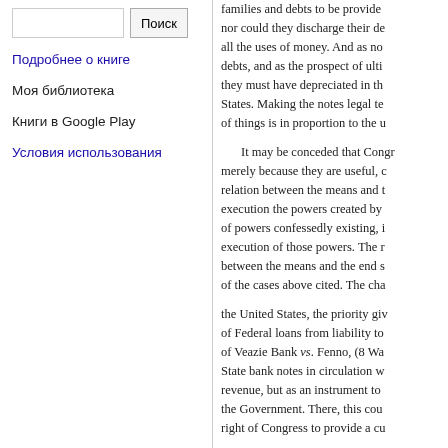Поиск [button]
Подробнее о книге
Моя библиотека
Книги в Google Play
Условия использования
families and debts to be provide nor could they discharge their de all the uses of money. And as no debts, and as the prospect of ulti they must have depreciated in th States. Making the notes legal te of things is in proportion to the u
It may be conceded that Congr merely because they are useful, c relation between the means and t execution the powers created by of powers confessedly existing, i execution of those powers. The r between the means and the end s of the cases above cited. The cha
the United States, the priority giv of Federal loans from liability to of Veazie Bank vs. Fenno, (8 Wa State bank notes in circulation w revenue, but as an instrument to the Government. There, this cou right of Congress to provide a cu